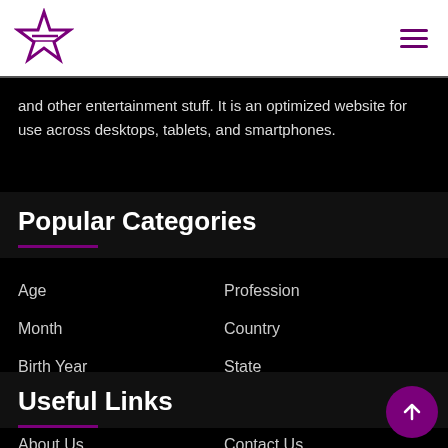[Figure (logo): Purple star logo with horizontal lines through it, on white navigation bar]
and other entertainment stuff. It is an optimized website for use across desktops, tablets, and smartphones.
Popular Categories
Age
Profession
Month
Country
Birth Year
State
Zodiac Sign
Continent
Useful Links
About Us
Contact Us